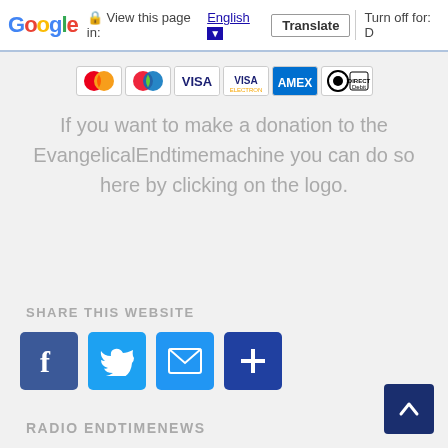Google | View this page in: English | Translate | Turn off for: D
[Figure (logo): Payment card logos: Mastercard, Maestro, Visa, Visa Electron, American Express, Direct Debit]
If you want to make a donation to the EvangelicalEndtimemachine you can do so here by clicking on the logo.
SHARE THIS WEBSITE
[Figure (infographic): Social share buttons: Facebook (f), Twitter (bird), Email (envelope), More (+)]
RADIO ENDTIMENEWS